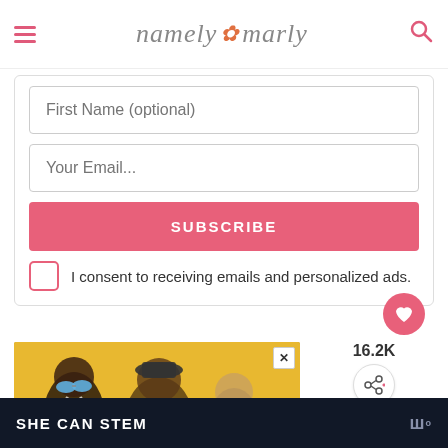namely marly
First Name (optional)
Your Email...
SUBSCRIBE
I consent to receiving emails and personalized ads.
16.2K
[Figure (photo): Ad image showing people laughing and having fun on yellow background, with 'ad council' logo, close button, and SHE CAN STEM banner at bottom]
WHAT'S NEXT → Vegan Cinnamon...